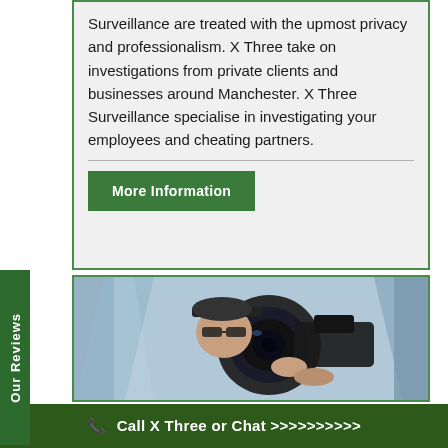Surveillance are treated with the upmost privacy and professionalism. X Three take on investigations from private clients and businesses around Manchester. X Three Surveillance specialise in investigating your employees and cheating partners.
More Information
[Figure (photo): A person holding a large camera lens photographed through a car window, suggesting covert surveillance photography.]
Our Reviews
Call X Three or Chat >>>>>>>>>>